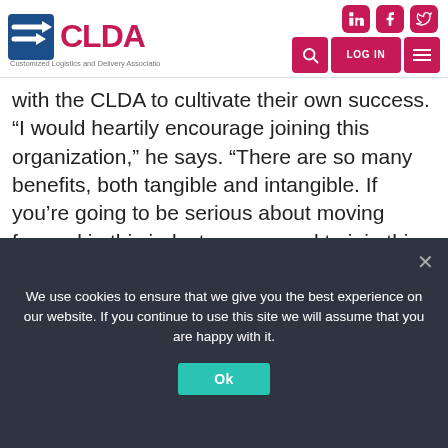CLDA — Customized Logistics and Delivery Association header with social icons (LinkedIn, Facebook, Twitter) and navigation buttons (Search, LOG IN, Menu)
with the CLDA to cultivate their own success. “I would heartily encourage joining this organization,” he says. “There are so many benefits, both tangible and intangible. If you’re going to be serious about moving forward in this industry, you need to join this organization. This organization is helpful, supportive and encouraging. You get access to a lot of successful people who don’t mind lending a helping hand. You can’t pay enough
We use cookies to ensure that we give you the best experience on our website. If you continue to use this site we will assume that you are happy with it.